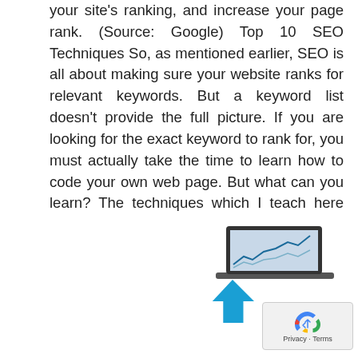your site's ranking, and increase your page rank. (Source: Google) Top 10 SEO Techniques So, as mentioned earlier, SEO is all about making sure your website ranks for relevant keywords. But a keyword list doesn't provide the full picture. If you are looking for the exact keyword to rank for, you must actually take the time to learn how to code your own web page. But what can you learn? The techniques which I teach here can be used to beat back the mass hordes of search engine crawlers. Drive the right traffic for more conversions and watch your revenue skyrocket with an SEO agency in Sydney.
[Figure (illustration): Illustration of a laptop with a graph on screen and a large blue upward arrow beside it, representing SEO growth and traffic increase.]